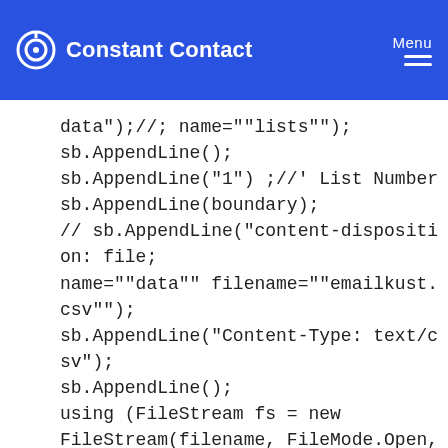Constant Contact | Menu
data");//; name=""lists"");
sb.AppendLine();
sb.AppendLine("1") ;//' List Number
sb.AppendLine(boundary);
// sb.AppendLine("content-disposition: file; name=""data"" filename=""emailkust.csv"");
sb.AppendLine("Content-Type: text/csv");
sb.AppendLine();
using (FileStream fs = new FileStream(filename, FileMode.Open, FileAccess.Read))
{
byte[] contents = new byte[fs.Length];
fs.Read(contents, 0, contents.Length);
sb.Append(Encoding.Default.GetString(